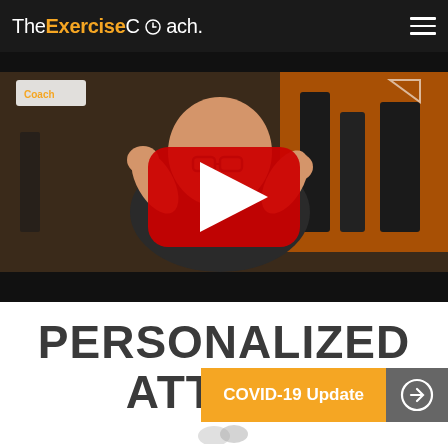The Exercise Coach.
[Figure (screenshot): YouTube video thumbnail showing a man in a black Under Armour shirt with The Exercise Coach logo, sitting in a gym with exercise equipment in the background. A red YouTube play button is overlaid in the center.]
PERSONALIZED ATTE...
COVID-19 Update